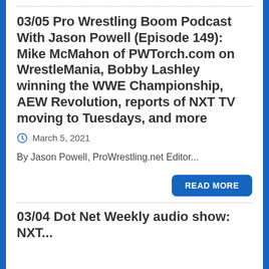03/05 Pro Wrestling Boom Podcast With Jason Powell (Episode 149): Mike McMahon of PWTorch.com on WrestleMania, Bobby Lashley winning the WWE Championship, AEW Revolution, reports of NXT TV moving to Tuesdays, and more
March 5, 2021
By Jason Powell, ProWrestling.net Editor...
READ MORE
03/04 Dot Net Weekly audio show: NXT...